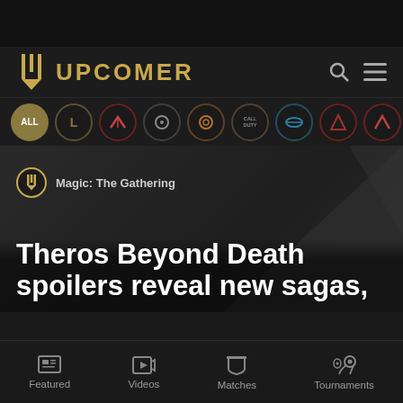[Figure (screenshot): Upcomer esports website screenshot showing logo, game filter icons, article about Theros Beyond Death spoilers, and bottom navigation bar]
UPCOMER
Magic: The Gathering
Theros Beyond Death spoilers reveal new sagas,
Featured  Videos  Matches  Tournaments